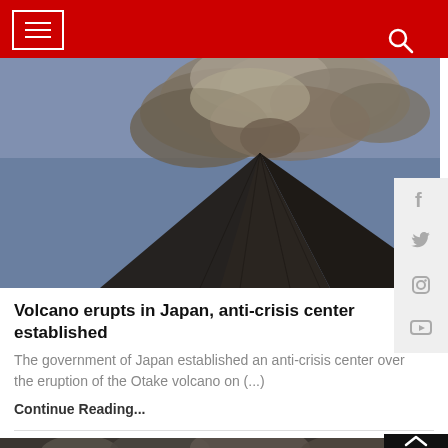Navigation header with hamburger menu and search icon
[Figure (photo): Erupting volcano with a large ash plume billowing upward and to the right against a blue sky background. The volcanic cone is dark with ridged slopes.]
Volcano erupts in Japan, anti-crisis center established
The government of Japan established an anti-crisis center over the eruption of the Otake volcano on (...)
Continue Reading...
[Figure (photo): Dark volcanic ash cloud and eruption smoke, partially visible at the bottom of the page.]